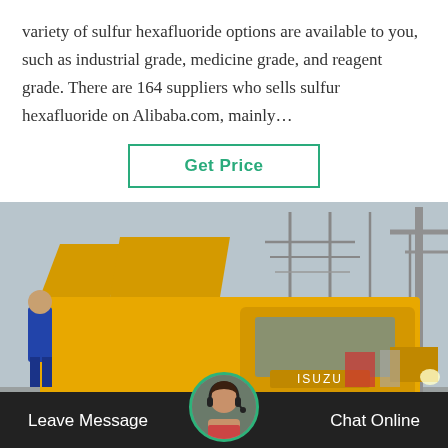variety of sulfur hexafluoride options are available to you, such as industrial grade, medicine grade, and reagent grade. There are 164 suppliers who sells sulfur hexafluoride on Alibaba.com, mainly…
Get Price
[Figure (photo): A yellow Isuzu truck with open side panels parked at an industrial facility with power line structures in the background. A worker in blue is visible on the left side of the truck.]
Leave Message
Chat Online